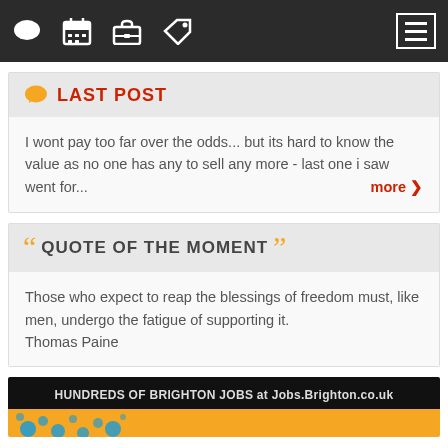Nav bar with icons: chat, calendar, briefcase, tag, menu
LAST POST
I wont pay too far over the odds... but its hard to know the value as no one has any to sell any more - last one i saw went for... more
QUOTE OF THE MOMENT
Those who expect to reap the blessings of freedom must, like men, undergo the fatigue of supporting it.
Thomas Paine
[Figure (infographic): Footer banner: HUNDREDS OF BRIGHTON JOBS at Jobs.Brighton.co.uk on dark background, with orange bar below containing blue splash graphics]